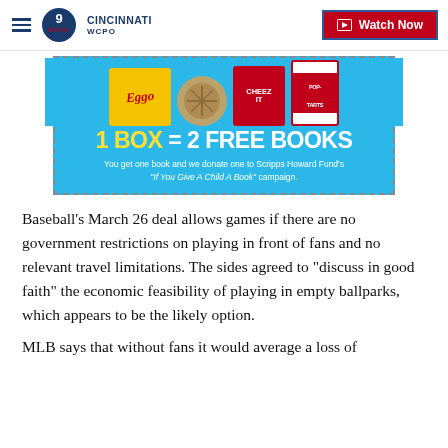WCPO Cincinnati | Watch Now
[Figure (illustration): Kellogg's advertisement: Eggo waffles, Cheez-It, Pop-Tarts boxes shown. Text reads '1 BOX = 2 FREE BOOKS. You get one book and we donate one to Scripps Howard Fund's "If You Give A Child A Book" campaign.']
Baseball’s March 26 deal allows games if there are no government restrictions on playing in front of fans and no relevant travel limitations. The sides agreed to “discuss in good faith” the economic feasibility of playing in empty ballparks, which appears to be the likely option.
MLB says that without fans it would average a loss of